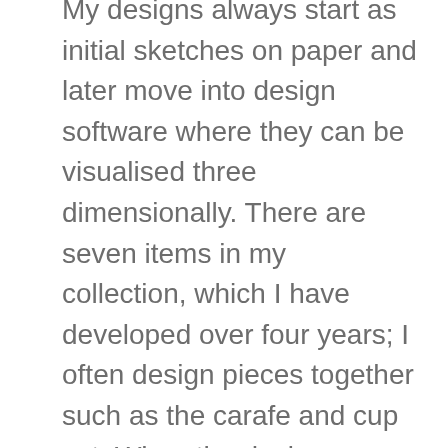My designs always start as initial sketches on paper and later move into design software where they can be visualised three dimensionally. There are seven items in my collection, which I have developed over four years; I often design pieces together such as the carafe and cup set. When the designs are complete I make paper models in order to explore their scale and proportions physically. Most changes are made in the paper model stage as at this point I am interacting with the design and considering its functional and ergonomic qualities. This initial stage involves going back and forth between sketches on paper, computer designs and models. Later I will turn the final design out of plaster using chisels and specialised tools on a lathe, from this plaster 3D model I will make a two part plaster mould. The